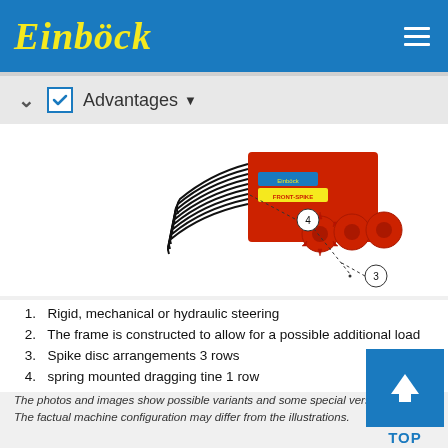Einböck
Advantages
[Figure (engineering-diagram): Red agricultural disc/spike harrow machine viewed from side angle, with numbered callouts: (3) pointing to spike disc arrangement and (4) pointing to spring mounted dragging tine row.]
1. Rigid, mechanical or hydraulic steering
2. The frame is constructed to allow for a possible additional load
3. Spike disc arrangements 3 rows
4. spring mounted dragging tine 1 row
The photos and images show possible variants and some special versions. The factual machine configuration may differ from the illustrations.